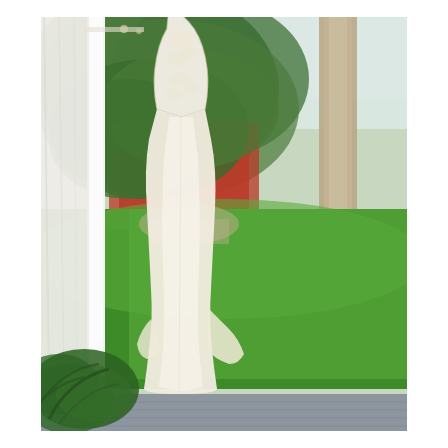[Figure (photo): An outdoor photograph of a white/ivory wedding dress with lace bodice hanging from a white porch structure. Behind the dress is a lush green lawn with a large tree trunk on the right, leafy green trees and a red barn/building in the background, and open sky. In the foreground lower left is a fern plant, and the lower portion shows a gray wooden deck. White curtain panel is visible on the left side.]